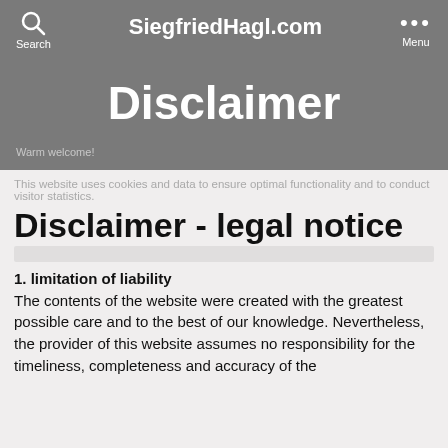SiegfriedHagl.com
Disclaimer
Warm welcome!
This website uses cookies and data to ensure optimal functionality and to conduct visitor statistics.
Disclaimer - legal notice
1. limitation of liability
The contents of the website were created with the greatest possible care and to the best of our knowledge. Nevertheless, the provider of this website assumes no responsibility for the timeliness, completeness and accuracy of the